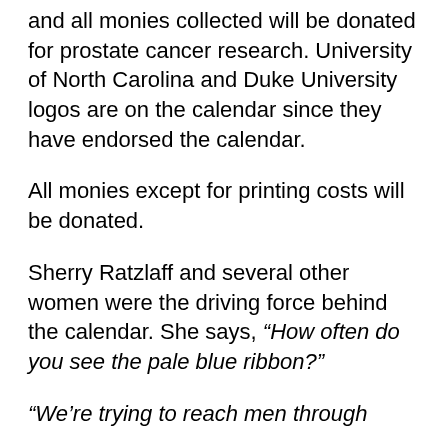and all monies collected will be donated for prostate cancer research. University of North Carolina and Duke University logos are on the calendar since they have endorsed the calendar.
All monies except for printing costs will be donated.
Sherry Ratzlaff and several other women were the driving force behind the calendar. She says, “How often do you see the pale blue ribbon?”
“We’re trying to reach men through